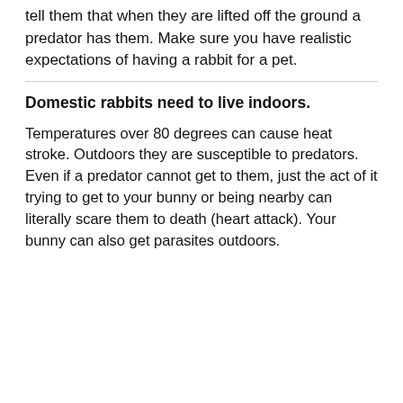tell them that when they are lifted off the ground a predator has them. Make sure you have realistic expectations of having a rabbit for a pet.
Domestic rabbits need to live indoors.
Temperatures over 80 degrees can cause heat stroke. Outdoors they are susceptible to predators. Even if a predator cannot get to them, just the act of it trying to get to your bunny or being nearby can literally scare them to death (heart attack). Your bunny can also get parasites outdoors.